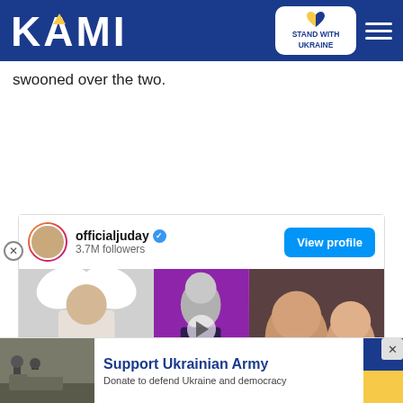KAMI — Stand with Ukraine
swooned over the two.
[Figure (screenshot): Instagram embed card for officialjuday with 3.7M followers, showing a View profile button and three images including a dark past video thumbnail and photo of a woman with a child]
[Figure (infographic): Advertisement banner: Support Ukrainian Army - Donate to defend Ukraine and democracy, with Ukrainian flag colors]